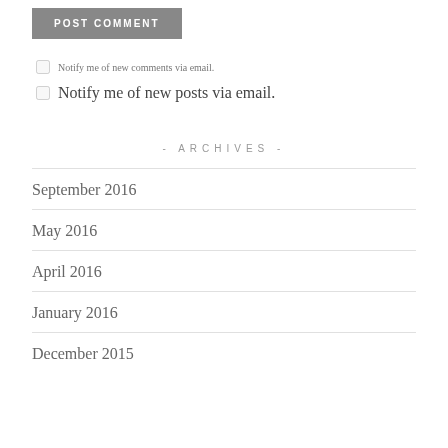POST COMMENT
Notify me of new comments via email.
Notify me of new posts via email.
- ARCHIVES -
September 2016
May 2016
April 2016
January 2016
December 2015